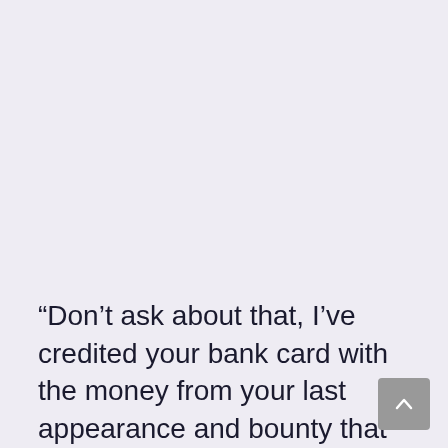“Don’t ask about that, I’ve credited your bank card with the money from your last appearance and bounty that